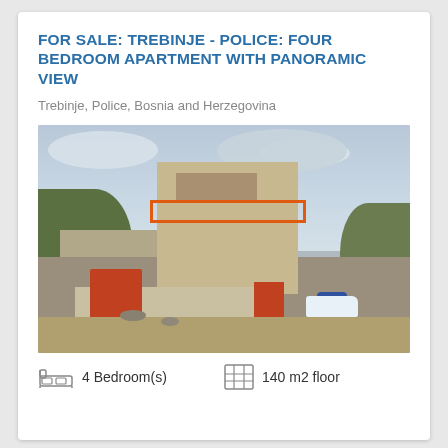FOR SALE: TREBINJE - POLICE: FOUR BEDROOM APARTMENT WITH PANORAMIC VIEW
Trebinje, Police, Bosnia and Herzegovina
[Figure (photo): Exterior photo of a multi-storey apartment building in Trebinje, Police, Bosnia and Herzegovina. The highlighted floor (orange border) is the apartment for sale. Stone-faced ground-floor commercial units with red garage doors are visible. A small Smart car is parked in front. Green hills and a cloudy sky are in the background.]
4 Bedroom(s)
140 m2 floor